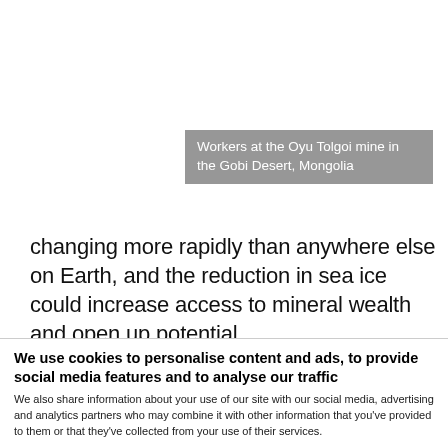Workers at the Oyu Tolgoi mine in the Gobi Desert, Mongolia
changing more rapidly than anywhere else on Earth, and the reduction in sea ice could increase access to mineral wealth and open up potential
We use cookies to personalise content and ads, to provide social media features and to analyse our traffic
We also share information about your use of our site with our social media, advertising and analytics partners who may combine it with other information that you've provided to them or that they've collected from your use of their services.
Allow selection  Allow all cookies
Necessary  Preferences  Statistics  Marketing  Show details